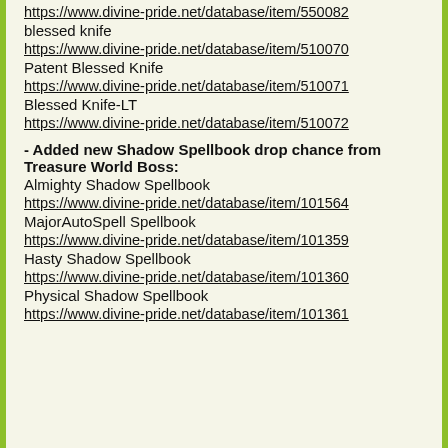https://www.divine-pride.net/database/item/550082
blessed knife
https://www.divine-pride.net/database/item/510070
Patent Blessed Knife
https://www.divine-pride.net/database/item/510071
Blessed Knife-LT
https://www.divine-pride.net/database/item/510072
- Added new Shadow Spellbook drop chance from Treasure World Boss:
Almighty Shadow Spellbook
https://www.divine-pride.net/database/item/101564
MajorAutoSpell Spellbook
https://www.divine-pride.net/database/item/101359
Hasty Shadow Spellbook
https://www.divine-pride.net/database/item/101360
Physical Shadow Spellbook
https://www.divine-pride.net/database/item/101361